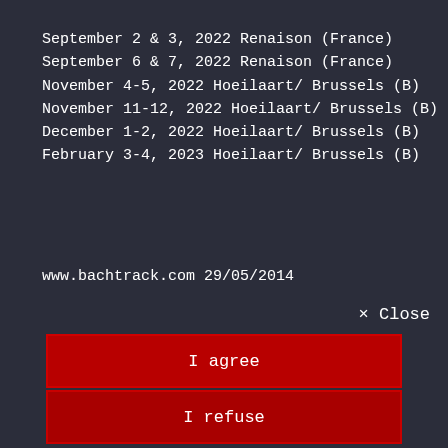September 2 & 3, 2022 Renaison (France)
September 6 & 7, 2022 Renaison (France)
November 4-5, 2022 Hoeilaart/ Brussels (B)
November 11-12, 2022 Hoeilaart/ Brussels (B)
December 1-2, 2022 Hoeilaart/ Brussels (B)
February 3-4, 2023 Hoeilaart/ Brussels (B)
www.bachtrack.com 29/05/2014
× Close
I agree
I refuse
What's a cookie ?